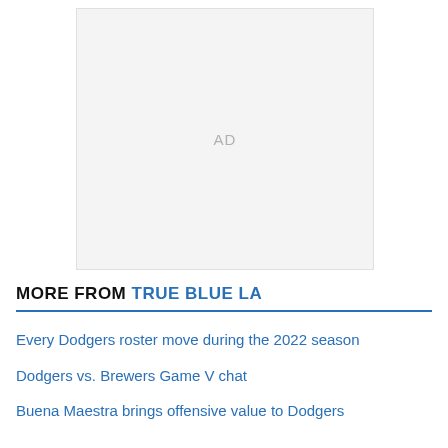[Figure (other): Advertisement placeholder box with 'AD' label in gray text on light gray background]
MORE FROM TRUE BLUE LA
Every Dodgers roster move during the 2022 season
Dodgers vs. Brewers Game V chat
Buena Maestra brings offensive value to Dodgers